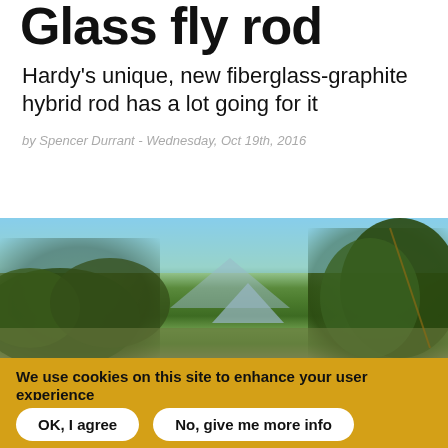Glass fly rod
Hardy's unique, new fiberglass-graphite hybrid rod has a lot going for it
by Spencer Durrant - Wednesday, Oct 19th, 2016
[Figure (photo): Outdoor nature photo showing green shrubs and trees against a blue sky with mountains in the background]
We use cookies on this site to enhance your user experience
By clicking any link on this page you are giving your consent for us to set cookies.
OK, I agree   No, give me more info